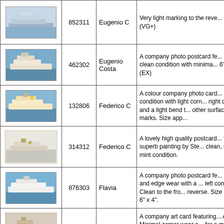| Image | ID | Name | Description |
| --- | --- | --- | --- |
| [ship image] | 852311 | Eugenio C | Very light marking to the reve... (VG+) |
| [ship image] | 462302 | Eugenio Costa | A company photo postcard fe... In clean condition with minima... 6" x 4". (EX) |
| [ship image] | 132806 | Federico C | A colour company photo card... clean condition with light corn... right corner and a light bend t... other surface marks. Size app... |
| [ship image] | 314312 | Federico C | A lovely high quality postcard... from a superb painting by Ste... clean, near to mint condition. |
| [ship image] | 876303 | Flavia | A company photo postcard fe... corner and edge wear with a ... left corner tip. Clean to the fro... reverse. Size approx 6" x 4". |
| [ship image] | 485497 | Franca C | A company art card featuring... Andel. Minimal corner wear a... for a mark at the top right cor... ageing to the reverse. Size ap... |